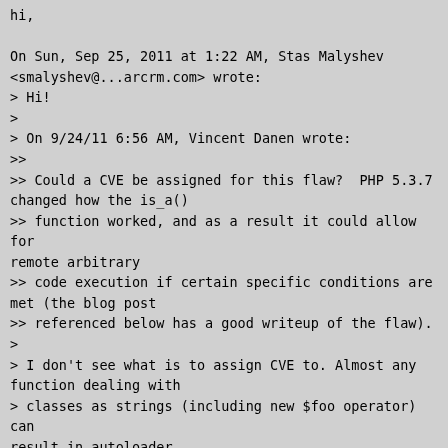hi,

On Sun, Sep 25, 2011 at 1:22 AM, Stas Malyshev <smalyshev@...arcrm.com> wrote:
> Hi!
>
> On 9/24/11 6:56 AM, Vincent Danen wrote:
>>
>> Could a CVE be assigned for this flaw?  PHP 5.3.7 changed how the is_a() 
>> function worked, and as a result it could allow for remote arbitrary 
>> code execution if certain specific conditions are met (the blog post 
>> referenced below has a good writeup of the flaw).
>
> I don't see what is to assign CVE to. Almost any function dealing with 
> classes as strings (including new $foo operator) can result in autoloader 
> call. If your autoloader is broken and your security practices are 
> non-existant, this can cause remote code execution. Just as if you write in 
> your script eval($_GET['hackme']), it can lead to remote code execution. It 
> is not a flaw in PHP, _GET or eval() function - it is a flaw in how you use 
> them. You should not be using them this way, and if you have autoloader that